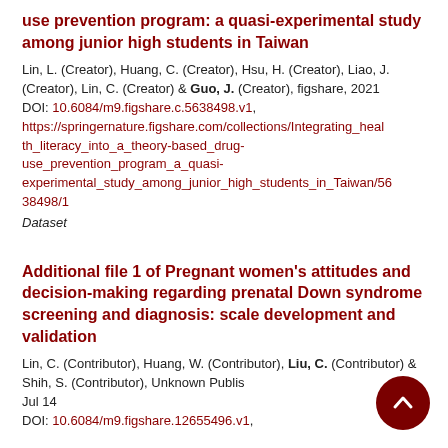use prevention program: a quasi-experimental study among junior high students in Taiwan
Lin, L. (Creator), Huang, C. (Creator), Hsu, H. (Creator), Liao, J. (Creator), Lin, C. (Creator) & Guo, J. (Creator), figshare, 2021 DOI: 10.6084/m9.figshare.c.5638498.v1, https://springernature.figshare.com/collections/Integrating_health_literacy_into_a_theory-based_drug-use_prevention_program_a_quasi-experimental_study_among_junior_high_students_in_Taiwan/5638498/1
Dataset
Additional file 1 of Pregnant women's attitudes and decision-making regarding prenatal Down syndrome screening and diagnosis: scale development and validation
Lin, C. (Contributor), Huang, W. (Contributor), Liu, C. (Contributor) & Shih, S. (Contributor), Unknown Publisher, Jul 14 DOI: 10.6084/m9.figshare.12655496.v1,